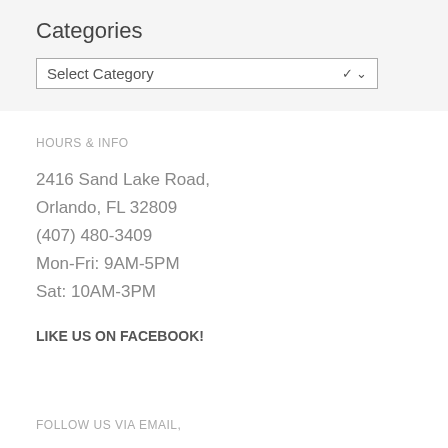Categories
[Figure (screenshot): Select Category dropdown UI element with a chevron/arrow on the right]
HOURS & INFO
2416 Sand Lake Road,
Orlando, FL 32809
(407) 480-3409
Mon-Fri: 9AM-5PM
Sat: 10AM-3PM
LIKE US ON FACEBOOK!
FOLLOW US VIA EMAIL,